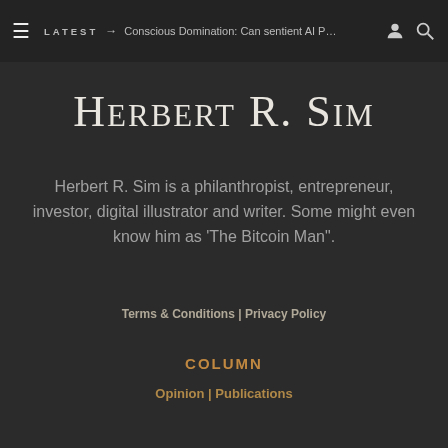≡  LATEST → Conscious Domination: Can sentient AI P…  👤 🔍
Herbert R. Sim
Herbert R. Sim is a philanthropist, entrepreneur, investor, digital illustrator and writer. Some might even know him as 'The Bitcoin Man".
Terms & Conditions | Privacy Policy
COLUMN
Opinion | Publications